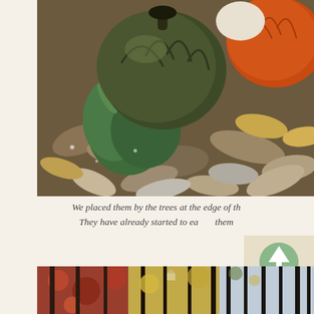[Figure (photo): Photograph of pumpkins resting among fallen autumn leaves on the ground, with green plants visible. Pumpkins include a large dark greenish-brown one and an orange one at right.]
We placed them by the trees at the edge of th... They have already started to ea... them...
[Figure (illustration): Circular badge/logo with a tree icon and laurel leaf decorations on a beige background with green design elements.]
[Figure (photo): Bottom strip photograph showing autumn forest trees with colorful foliage — reds, yellows, and browns visible among dark tree trunks.]